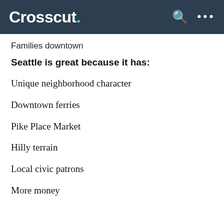Crosscut.
Families downtown
Seattle is great because it has:
Unique neighborhood character
Downtown ferries
Pike Place Market
Hilly terrain
Local civic patrons
More money